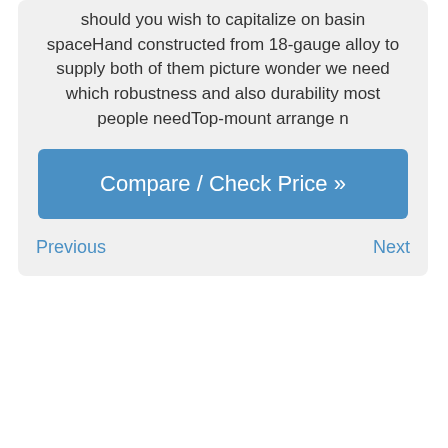should you wish to capitalize on basin spaceHand constructed from 18-gauge alloy to supply both of them picture wonder we need which robustness and also durability most people needTop-mount arrange n
[Figure (other): Blue button labeled 'Compare / Check Price »']
Previous
Next